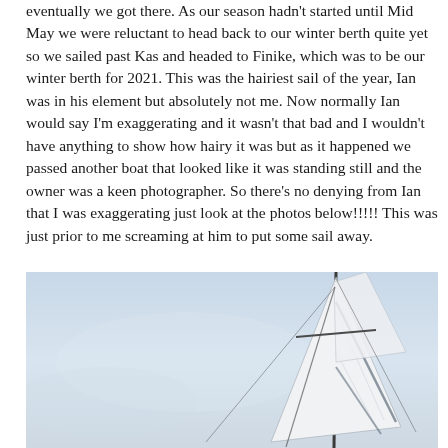eventually we got there.  As our season hadn't started until Mid May we were reluctant to head back to our winter berth quite yet so we sailed past Kas and headed to Finike, which was to be our winter berth for 2021.  This was the hairiest sail of the year, Ian was in his element but absolutely not me.  Now normally Ian would say I'm exaggerating and it wasn't that bad and I wouldn't have anything to show how hairy it was but as it happened we passed another boat that looked like it was standing still and the owner was a keen photographer.  So there's no denying from Ian that I was exaggerating just look at the photos below!!!!!  This was just prior to me screaming at him to put some sail away.
[Figure (photo): Photograph of a sailboat's white sail against a pale blue/grey sky, taken from another boat. The sail appears fully deployed and the rigging lines are visible. The scene suggests windy sailing conditions.]